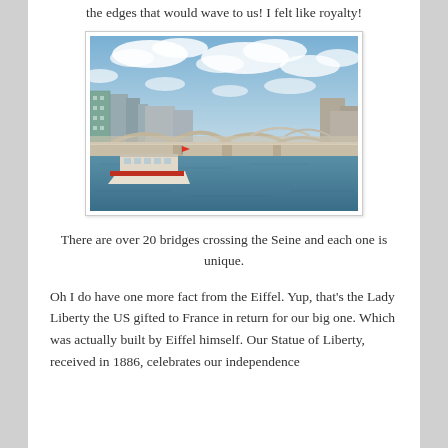the edges that would wave to us! I felt like royalty!
[Figure (photo): Photo of a stone bridge crossing the Seine river in Paris, with a tourist boat in the foreground and city buildings in the background under a partly cloudy sky.]
There are over 20 bridges crossing the Seine and each one is unique.
Oh I do have one more fact from the Eiffel. Yup, that’s the Lady Liberty the US gifted to France in return for our big one. Which was actually built by Eiffel himself. Our Statue of Liberty, received in 1886, celebrates our independence